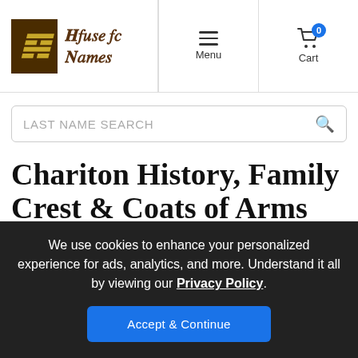House of Names — Menu | Cart
LAST NAME SEARCH
Chariton History, Family Crest & Coats of Arms
Origins Available: England
We use cookies to enhance your personalized experience for ads, analytics, and more. Understand it all by viewing our Privacy Policy. Accept & Continue